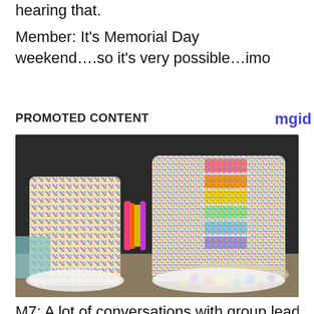hearing that.
Member: It’s Memorial Day weekend….so it’s very possible…imo
PROMOTED CONTENT
[Figure (photo): A colorful rainbow layered cake covered in sprinkles, cut open to reveal rainbow layers and candy pouring out, displayed on a white plate.]
M7: A lot of conversations with group leaders...